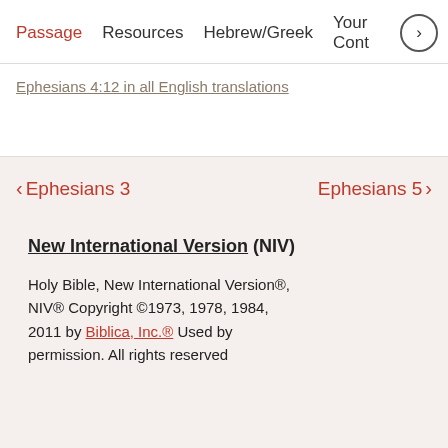Passage  Resources  Hebrew/Greek  Your Cont
Ephesians 4:12 in all English translations
< Ephesians 3    Ephesians 5 >
New International Version (NIV)
Holy Bible, New International Version®, NIV® Copyright ©1973, 1978, 1984, 2011 by Biblica, Inc.® Used by permission. All rights reserved